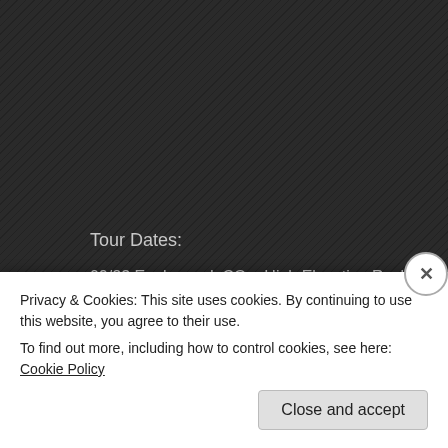Tour Dates:
09/23 Englewood, CO – High Elevation Rock Festival
09/24 Omaha, NE – Sokol Auditorium
09/26 Kansas City, MO – The Midland
09/27 St. Paul, MN – The Myth
09/28 Fargo, ND – Fargo Civic Auditorium
09/30 Janesville, WI – JJO Sonic Boom
10/01 Louisville, KY – Louder Than Life
10/03 Bethlehem, PA – Sands Bethlehem Event Center
10/04 Niagara Falls, NY – The Rapids Theatre
10/07 Sioux Falls, SD – The District (no Steel Panther) (with Man With A…
Privacy & Cookies: This site uses cookies. By continuing to use this website, you agree to their use.
To find out more, including how to control cookies, see here: Cookie Policy
Close and accept